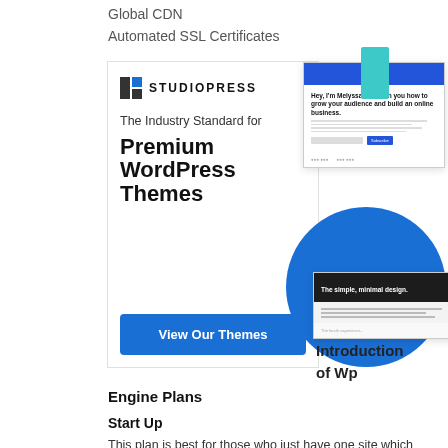Global CDN
Automated SSL Certificates
[Figure (screenshot): StudioPress advertisement showing logo, tagline 'The Industry Standard for Premium WordPress Themes', a blue 'View Our Themes' button, and website screenshots on the right side.]
Introduction of Wp
Engine Plans
Start Up
This plan is best for those who just have one site which they require to host. It's the most affordable plan and really fairly priced considering all the functions